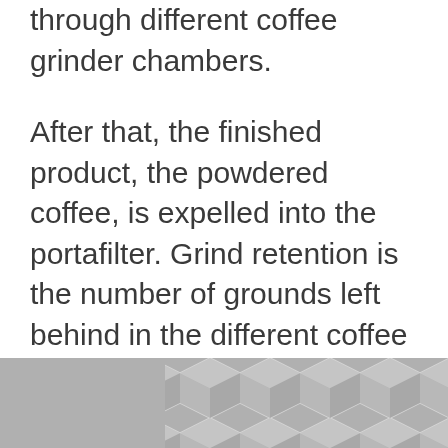through different coffee grinder chambers.
After that, the finished product, the powdered coffee, is expelled into the portafilter. Grind retention is the number of grounds left behind in the different coffee grinder chambers like the burr chamber and the chute.
[Figure (illustration): Decorative geometric pattern in gray and white, consisting of repeating chevron/diamond shapes arranged in a grid.]